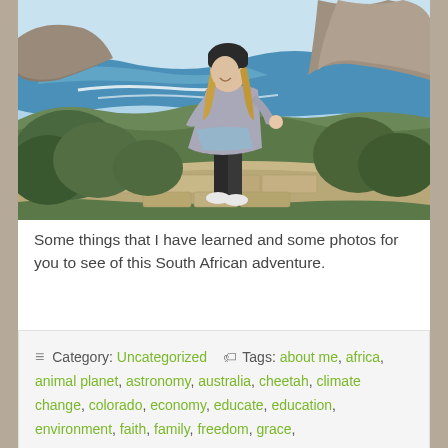[Figure (photo): A woman with long blonde hair wearing a beanie hat and grey hoodie stands on a rocky ledge. Behind her is a dramatic coastal South African landscape with turquoise ocean, crashing waves, cliffs, and green shrubs.]
Some things that I have learned and some photos for you to see of this South African adventure.
≡ Category: Uncategorized  🏷 Tags: about me, africa, animal planet, astronomy, australia, cheetah, climate change, colorado, economy, educate, education, environment, faith, family, freedom, grace,